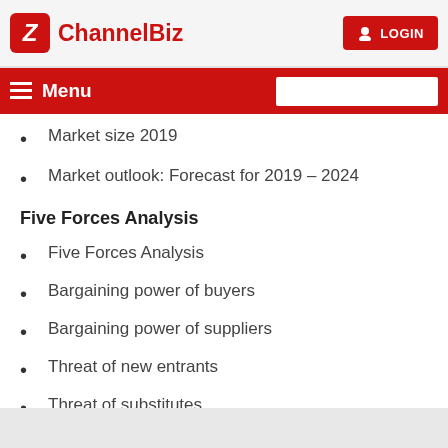ChannelBiz  LOGIN
Market size 2019
Market outlook: Forecast for 2019 – 2024
Five Forces Analysis
Five Forces Analysis
Bargaining power of buyers
Bargaining power of suppliers
Threat of new entrants
Threat of substitutes